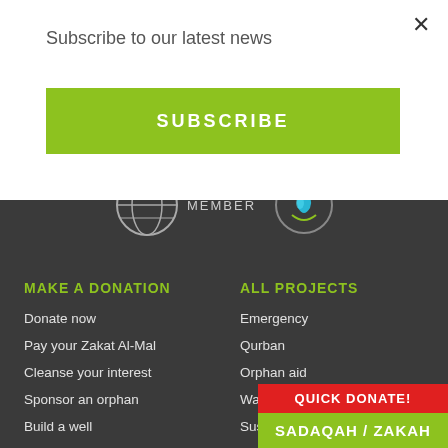Subscribe to our latest news
SUBSCRIBE
[Figure (logo): Globe/member badge and water drop logo in footer area]
MAKE A DONATION
Donate now
Pay your Zakat Al-Mal
Cleanse your interest
Sponsor an orphan
Build a well
Donate your qurban
ALL PROJECTS
Emergency
Qurban
Orphan aid
Water
Sustainability
Food aid
Aqeeqah & s
QUICK DONATE!
SADAQAH / ZAKAH